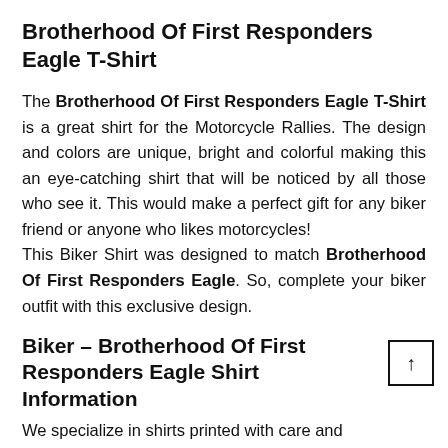Brotherhood Of First Responders Eagle T-Shirt
The Brotherhood Of First Responders Eagle T-Shirt is a great shirt for the Motorcycle Rallies. The design and colors are unique, bright and colorful making this an eye-catching shirt that will be noticed by all those who see it. This would make a perfect gift for any biker friend or anyone who likes motorcycles! This Biker Shirt was designed to match Brotherhood Of First Responders Eagle. So, complete your biker outfit with this exclusive design.
Biker – Brotherhood Of First Responders Eagle Shirt Information
We specialize in shirts printed with care and